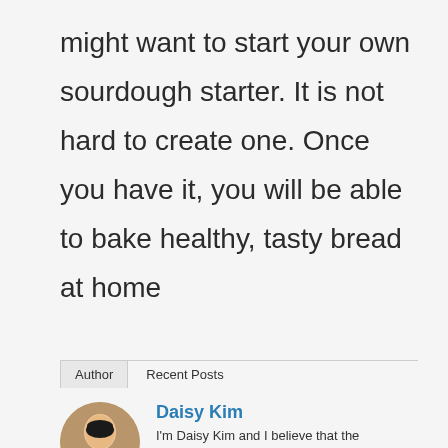might want to start your own sourdough starter. It is not hard to create one. Once you have it, you will be able to bake healthy, tasty bread at home
Author | Recent Posts
Daisy Kim
I'm Daisy Kim and I believe that the secret to great cooking is very simple